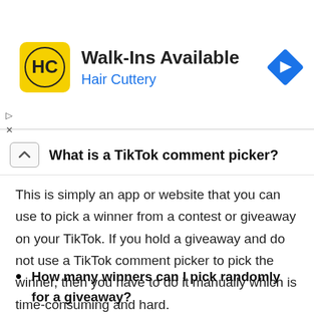[Figure (logo): Hair Cuttery advertisement banner with yellow HC logo, text 'Walk-Ins Available' and 'Hair Cuttery', and a blue diamond navigation arrow icon]
What is a TikTok comment picker?
This is simply an app or website that you can use to pick a winner from a contest or giveaway on your TikTok. If you hold a giveaway and do not use a TikTok comment picker to pick the winner, then you have to do it manually which is time-consuming and hard.
How many winners can I pick randomly for a giveaway?